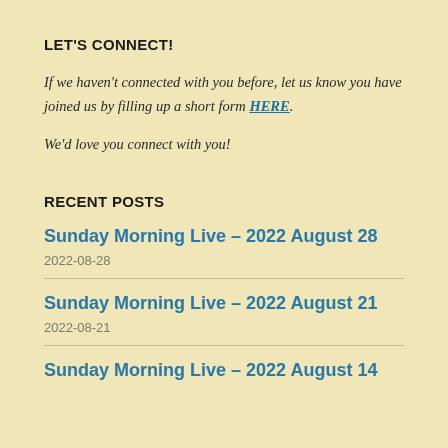LET'S CONNECT!
If we haven't connected with you before, let us know you have joined us by filling up a short form HERE.
We'd love you connect with you!
RECENT POSTS
Sunday Morning Live – 2022 August 28
2022-08-28
Sunday Morning Live – 2022 August 21
2022-08-21
Sunday Morning Live – 2022 August 14